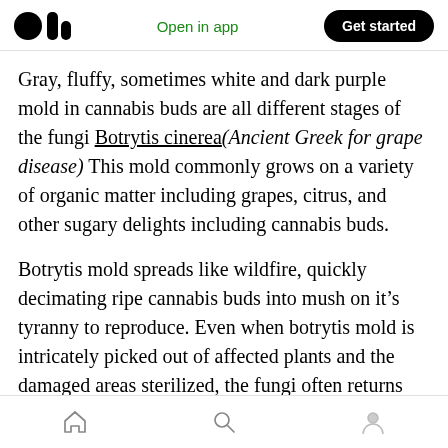Open in app | Get started
Gray, fluffy, sometimes white and dark purple mold in cannabis buds are all different stages of the fungi Botrytis cinerea (Ancient Greek for grape disease) This mold commonly grows on a variety of organic matter including grapes, citrus, and other sugary delights including cannabis buds.
Botrytis mold spreads like wildfire, quickly decimating ripe cannabis buds into mush on it’s tyranny to reproduce. Even when botrytis mold is intricately picked out of affected plants and the damaged areas sterilized, the fungi often returns within a few hours
Home | Search | Profile